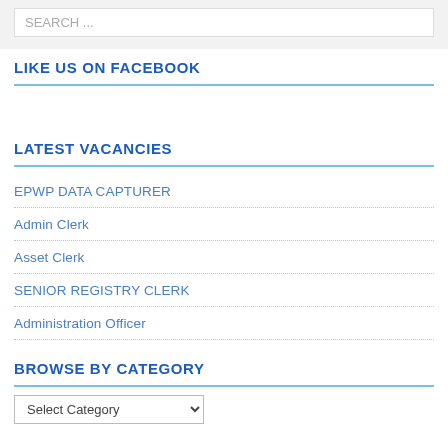SEARCH ...
LIKE US ON FACEBOOK
LATEST VACANCIES
EPWP DATA CAPTURER
Admin Clerk
Asset Clerk
SENIOR REGISTRY CLERK
Administration Officer
BROWSE BY CATEGORY
Select Category